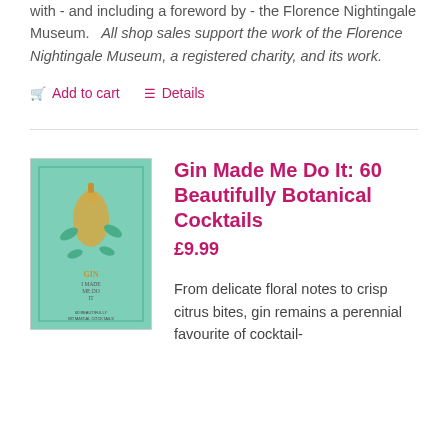with - and including a foreword by - the Florence Nightingale Museum.  All shop sales support the work of the Florence Nightingale Museum, a registered charity, and its work.
Add to cart   Details
[Figure (photo): Book cover for 'Gin Made Me Do It: 60 Beautifully Botanical Cocktails' - green/teal background with gold illustrated gin bottle and botanicals]
Gin Made Me Do It: 60 Beautifully Botanical Cocktails
£9.99
From delicate floral notes to crisp citrus bites, gin remains a perennial favourite of cocktail-